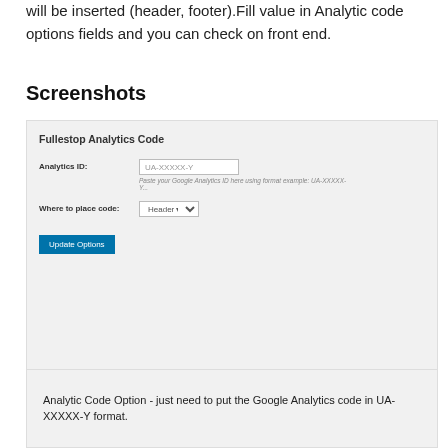will be inserted (header, footer).Fill value in Analytic code options fields and you can check on front end.
Screenshots
[Figure (screenshot): Screenshot of Fullestop Analytics Code admin panel showing Analytics ID field with placeholder UA-XXXXX-Y, a hint text 'Paste your Google Analytics ID here using format example: UA-XXXXX-Y...', a 'Where to place code:' dropdown set to 'Header', and an 'Update Options' blue button.]
Analytic Code Option - just need to put the Google Analytics code in UA-XXXXX-Y format.